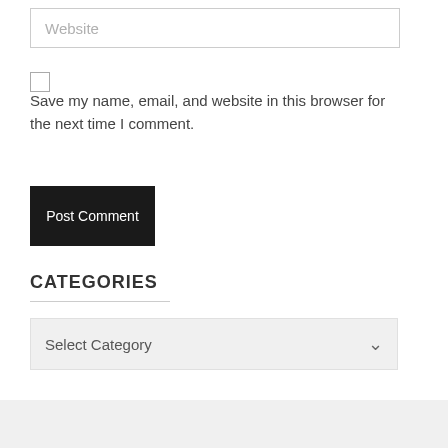Website (placeholder input field)
Save my name, email, and website in this browser for the next time I comment.
Post Comment
CATEGORIES
Select Category